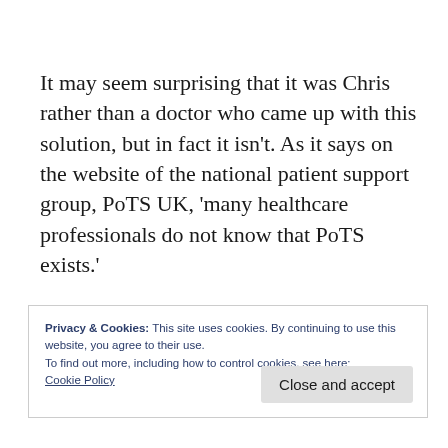It may seem surprising that it was Chris rather than a doctor who came up with this solution, but in fact it isn't. As it says on the website of the national patient support group, PoTS UK, 'many healthcare professionals do not know that PoTS exists.'
Privacy & Cookies: This site uses cookies. By continuing to use this website, you agree to their use.
To find out more, including how to control cookies, see here:
Cookie Policy
Close and accept